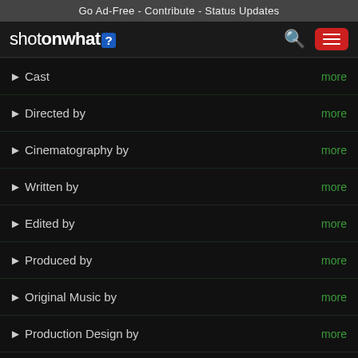Go Ad-Free - Contribute - Status Updates
[Figure (logo): shotonwhat? logo with search icon and hamburger menu button]
Cast  more
Directed by  more
Cinematography by  more
Written by  more
Edited by  more
Produced by  more
Original Music by  more
Production Design by  more
Art Direction by  more